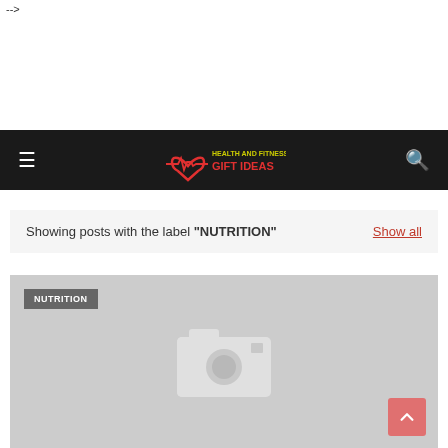-->
[Figure (logo): Health and Fitness Gift Ideas logo with heart and ECG line graphic, red heart outline with pulse line, text 'HEALTH AND FITNESS GIFT IDEAS' in yellow/green]
Showing posts with the label "NUTRITION"
Show all
[Figure (photo): Gray placeholder image with white camera icon in the center, NUTRITION tag in top left corner]